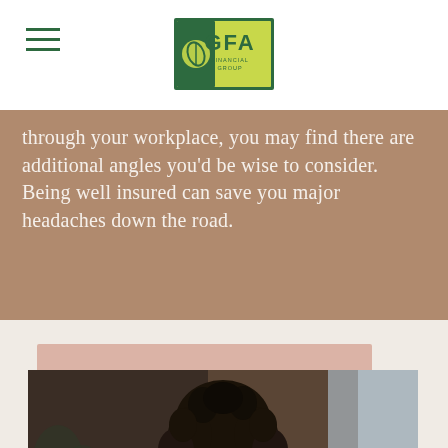[Figure (logo): GFA Financial Group logo — green square with leaf icon on left, 'GFA' text in large letters with 'FINANCIAL GROUP' below on yellow-green background]
through your workplace, you may find there are additional angles you'd be wise to consider. Being well insured can save you major headaches down the road.
[Figure (photo): Person with curly dark hair seen from behind/side, sitting in a room with blurred background including a window with light and some plants, warm indoor lighting]